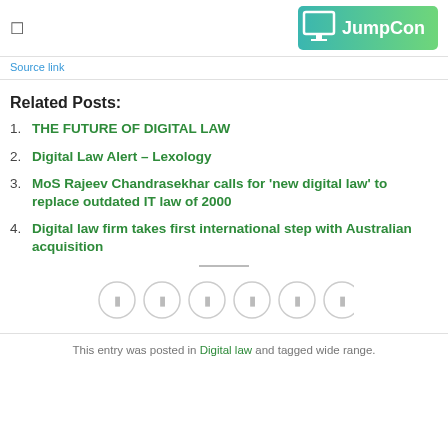[Figure (logo): JumpCon logo — monitor icon with JumpCon text on teal/green gradient background]
Source link
Related Posts:
THE FUTURE OF DIGITAL LAW
Digital Law Alert – Lexology
MoS Rajeev Chandrasekhar calls for 'new digital law' to replace outdated IT law of 2000
Digital law firm takes first international step with Australian acquisition
[Figure (illustration): Six social media share/action circular icon buttons in a row]
This entry was posted in Digital law and tagged wide range.